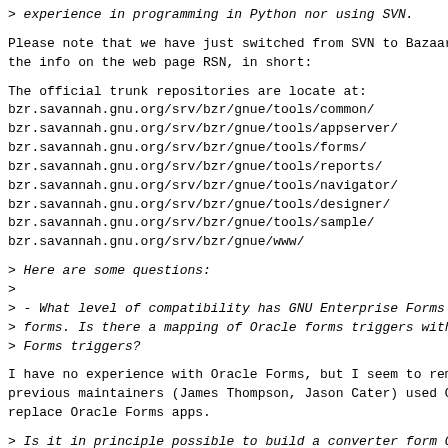> experience in programming in Python nor using SVN.
Please note that we have just switched from SVN to Bazaar
the info on the web page RSN, in short:
The official trunk repositories are locate at:
bzr.savannah.gnu.org/srv/bzr/gnue/tools/common/
bzr.savannah.gnu.org/srv/bzr/gnue/tools/appserver/
bzr.savannah.gnu.org/srv/bzr/gnue/tools/forms/
bzr.savannah.gnu.org/srv/bzr/gnue/tools/reports/
bzr.savannah.gnu.org/srv/bzr/gnue/tools/navigator/
bzr.savannah.gnu.org/srv/bzr/gnue/tools/designer/
bzr.savannah.gnu.org/srv/bzr/gnue/tools/sample/
bzr.savannah.gnu.org/srv/bzr/gnue/www/
> Here are some questions:
>
> - What level of compatibility has GNU Enterprise Forms
> forms. Is there a mapping of Oracle forms triggers with
> Forms triggers?
I have no experience with Oracle Forms, but I seem to rem
previous maintainers (James Thompson, Jason Cater) used O
replace Oracle Forms apps.
> Is it in principle possible to build a converter form O
> format text-source to be converted to the XML input for
> Enterprise forms.
In principle, this should be possible, but I don't know w